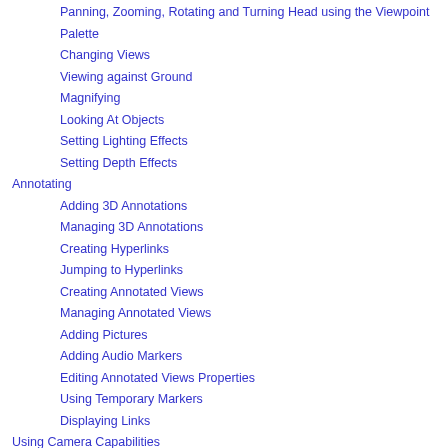Panning, Zooming, Rotating and Turning Head using the Viewpoint Palette
Changing Views
Viewing against Ground
Magnifying
Looking At Objects
Setting Lighting Effects
Setting Depth Effects
Annotating
Adding 3D Annotations
Managing 3D Annotations
Creating Hyperlinks
Jumping to Hyperlinks
Creating Annotated Views
Managing Annotated Views
Adding Pictures
Adding Audio Markers
Editing Annotated Views Properties
Using Temporary Markers
Displaying Links
Using Camera Capabilities
About Cameras
Creating and Displaying a Camera
Editing Camera Properties
Moving a Camera
Selecting Standard Views